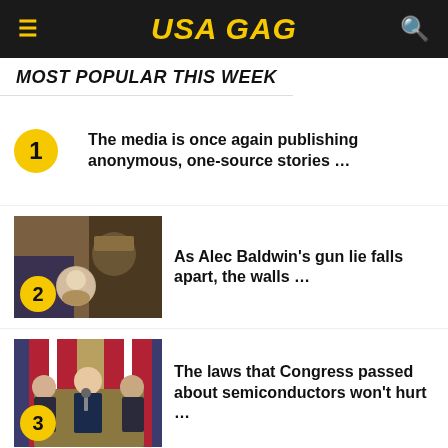USA GAG
MOST POPULAR THIS WEEK
The media is once again publishing anonymous, one-source stories …
[Figure (photo): Composite photo relating to Alec Baldwin]
As Alec Baldwin's gun lie falls apart, the walls …
[Figure (photo): Politicians at a press conference with American flags]
The laws that Congress passed about semiconductors won't hurt …